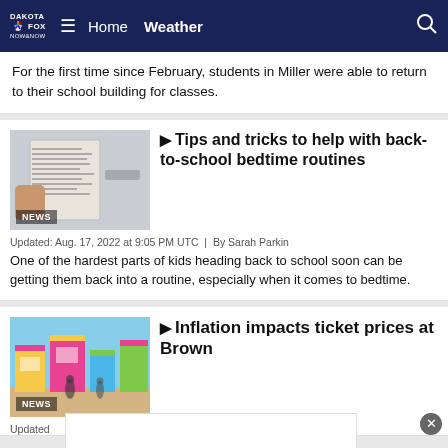DAKOTA FOX NBC Now | Home  Weather
For the first time since February, students in Miller were able to return to their school building for classes.
[Figure (photo): Thumbnail image of a person reading a book, labeled NEWS]
Tips and tricks to help with back-to-school bedtime routines
Updated: Aug. 17, 2022 at 9:05 PM UTC  |  By Sarah Parkin
One of the hardest parts of kids heading back to school soon can be getting them back into a routine, especially when it comes to bedtime.
[Figure (photo): Thumbnail image of colorful carnival/fair scene, labeled NEWS]
Inflation impacts ticket prices at Brown
Updated